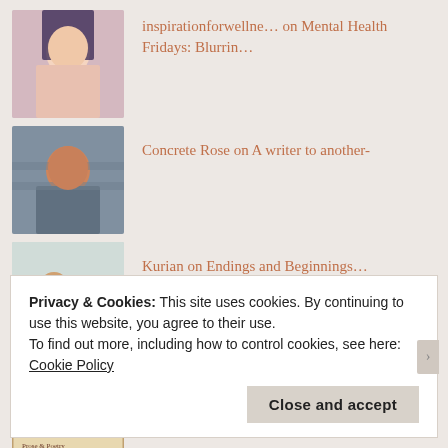inspirationforwellne… on Mental Health Fridays: Blurrin…
Concrete Rose on A writer to another-
Kurian on Endings and Beginnings…
Ameena k.g on Endings and Beginnings…
Kurian on Endings and Beginnings…
Privacy & Cookies: This site uses cookies. By continuing to use this website, you agree to their use.
To find out more, including how to control cookies, see here: Cookie Policy